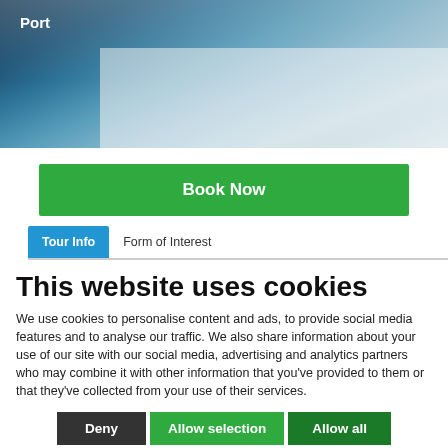[Figure (photo): Aerial/landscape photo of a Greek island port scene with white buildings and blue sea, with 'Port' label overlay in top-left]
Port
[Figure (screenshot): Green Book Now button]
Book Now
Tour Info   Form of Interest
This website uses cookies
We use cookies to personalise content and ads, to provide social media features and to analyse our traffic. We also share information about your use of our site with our social media, advertising and analytics partners who may combine it with other information that you've provided to them or that they've collected from your use of their services.
Deny   Allow selection   Allow all
Necessary   Preferences   Statistics   Marketing   Show details